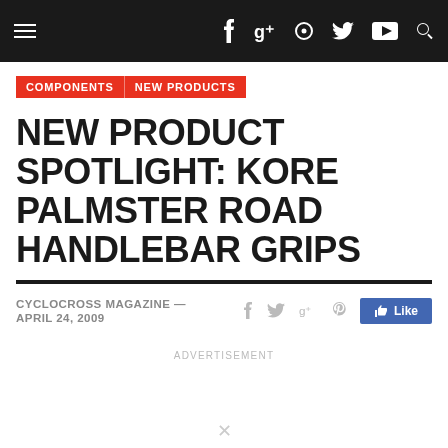Navigation bar with hamburger menu, Facebook, Google+, Instagram, Twitter, YouTube, Search icons
COMPONENTS | NEW PRODUCTS
NEW PRODUCT SPOTLIGHT: KORE PALMSTER ROAD HANDLEBAR GRIPS
CYCLOCROSS MAGAZINE — APRIL 24, 2009
ADVERTISEMENT